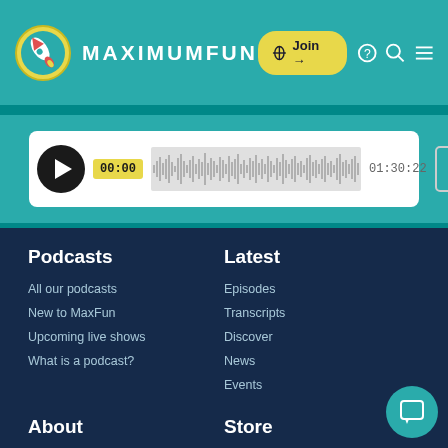MAXIMUMFUN
[Figure (screenshot): Audio player with play button, waveform, timestamps 00:00 and 01:30:22, and menu icon]
Podcasts
All our podcasts
New to MaxFun
Upcoming live shows
What is a podcast?
Latest
Episodes
Transcripts
Discover
News
Events
About
What we do
Store
Buy a Jumbotron